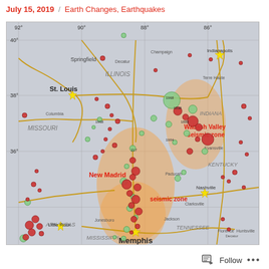July 15, 2019  /  Earth Changes, Earthquakes
[Figure (map): Seismic map showing earthquake locations across the central United States including the New Madrid seismic zone and Wabash Valley seismic zone. The map covers approximately 36–40 degrees north latitude and 86–92 degrees west longitude, spanning Missouri, Illinois, Indiana, Kentucky, Tennessee, Arkansas, and Mississippi. Orange shaded areas highlight the New Madrid seismic zone (centered near Memphis, TN) and Wabash Valley seismic zone (near Evansville, IN). Red and green circles of varying sizes mark earthquake epicenters. Yellow starburst symbols mark major cities including Memphis, St. Louis, Indianapolis, Nashville, Little Rock, and others. Major cities labeled include Springfield, St. Louis, Columbia, Indianapolis, Terre Haute, Evansville, Paducah, Nashville, Memphis, Jonesboro, Little Rock, Clarksville, Decatur, Champaign, Jackson, Florence, Huntsville.]
Follow  ...